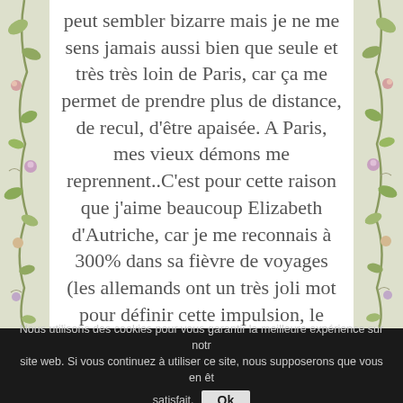peut sembler bizarre mais je ne me sens jamais aussi bien que seule et très très loin de Paris, car ça me permet de prendre plus de distance, de recul, d'être apaisée. A Paris, mes vieux démons me reprennent..C'est pour cette raison que j'aime beaucoup Elizabeth d'Autriche, car je me reconnais à 300% dans sa fièvre de voyages (les allemands ont un très joli mot pour définir cette impulsion, le Wanderlust), elle ne trouvait l'apaisement qu'en parcourant
Nous utilisons des cookies pour vous garantir la meilleure expérience sur notre site web. Si vous continuez à utiliser ce site, nous supposerons que vous en êtes satisfait. Ok